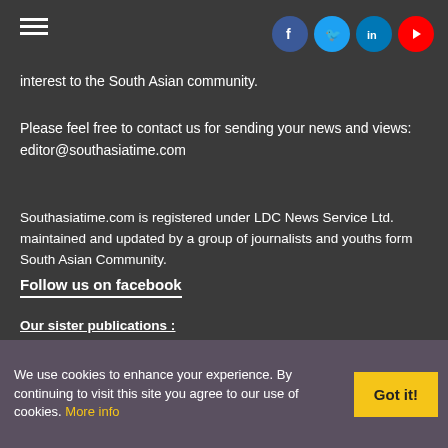interest to the South Asian community.
Please feel free to contact us for sending your news and views: editor@southasiatime.com
Southasiatime.com is registered under LDC News Service Ltd. maintained and updated by a group of journalists and youths form South Asian Community. Follow us on facebook
Our sister publications :
www.ldcnews.com
www.globalnepalese.com
We use cookies to enhance your experience. By continuing to visit this site you agree to our use of cookies. More info